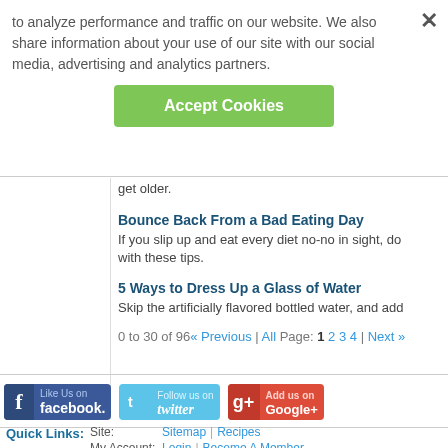to analyze performance and traffic on our website. We also share information about your use of our site with our social media, advertising and analytics partners.
Accept Cookies
get older.
Bounce Back From a Bad Eating Day
If you slip up and eat every diet no-no in sight, do with these tips.
5 Ways to Dress Up a Glass of Water
Skip the artificially flavored bottled water, and add
0 to 30 of 96 « Previous | All Page: 1 2 3 4 | Next »
[Figure (infographic): Social media buttons: Like Us on Facebook, Follow us on Twitter, Add us on Google+]
Quick Links: Site: Sitemap | Recipes  My Account: Login | Become A Member